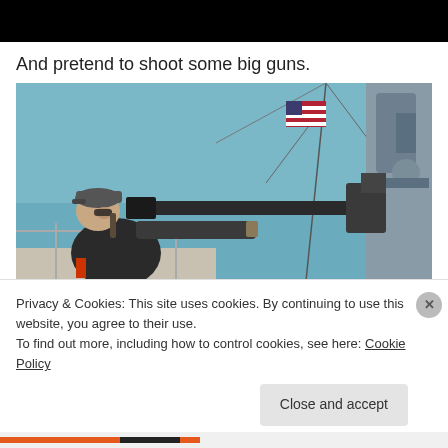[Figure (photo): Black bar at top of page, cropped image header area]
And pretend to shoot some big guns.
[Figure (photo): Person in baseball cap and dark shirt aiming a large mounted gun on a ship deck, with an American flag and mast visible in background against a blue sky and water]
Privacy & Cookies: This site uses cookies. By continuing to use this website, you agree to their use.
To find out more, including how to control cookies, see here: Cookie Policy
Close and accept